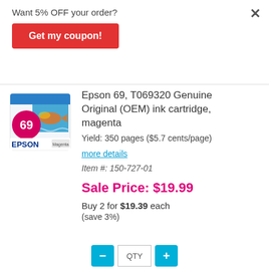Want 5% OFF your order?
Get my coupon!
[Figure (photo): Epson 69 magenta ink cartridge box product image]
Epson 69, T069320 Genuine Original (OEM) ink cartridge, magenta
Yield: 350 pages ($5.7 cents/page)
more details
Item #: 150-727-01
Sale Price: $19.99
Buy 2 for $19.39 each
(save 3%)
QTY